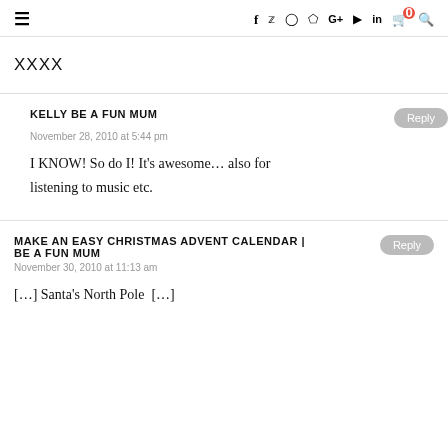≡   f  twitter  instagram  pinterest  G+  youtube  in  🛒0  search
XXXX
KELLY BE A FUN MUM
November 28, 2010 at 5:44 pm
I KNOW! So do I! It's awesome… also for listening to music etc.
MAKE AN EASY CHRISTMAS ADVENT CALENDAR | BE A FUN MUM
November 30, 2010 at 11:13 am
[…] Santa's North Pole  […]